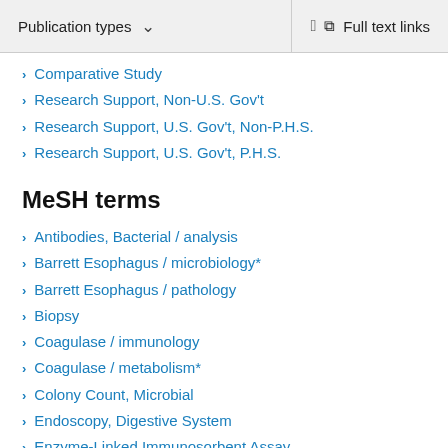Publication types | Full text links
Comparative Study
Research Support, Non-U.S. Gov't
Research Support, U.S. Gov't, Non-P.H.S.
Research Support, U.S. Gov't, P.H.S.
MeSH terms
Antibodies, Bacterial / analysis
Barrett Esophagus / microbiology*
Barrett Esophagus / pathology
Biopsy
Coagulase / immunology
Coagulase / metabolism*
Colony Count, Microbial
Endoscopy, Digestive System
Enzyme-Linked Immunosorbent Assay
Biopsy (partially visible)